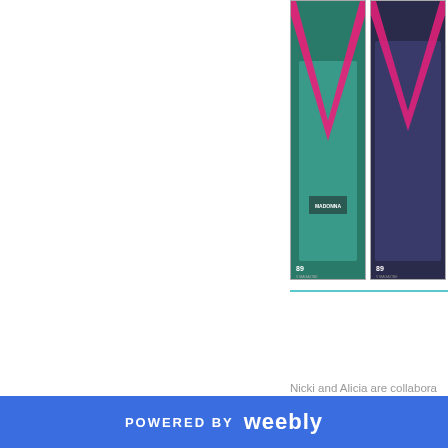[Figure (photo): Two V Magazine covers featuring Madonna on a teal/dark background with a large pink V logo]
Nicki and Alicia are collaborating on a track that Alicia Keys will be featured on. The album is produced by Madonna. Personally. I'm sh love it. It will be great. Mado William Orbit and the produ exceptions.
POWERED BY weebly